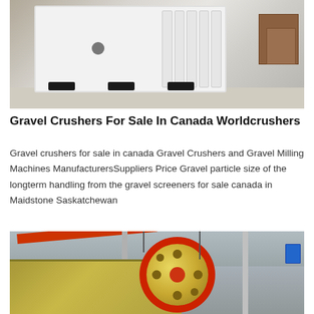[Figure (photo): White industrial jaw crusher machine sitting on black rubber feet on a warehouse floor, showing ribbed side panel]
Gravel Crushers For Sale In Canada Worldcrushers
Gravel crushers for sale in canada Gravel Crushers and Gravel Milling Machines ManufacturersSuppliers Price Gravel particle size of the longterm handling from the gravel screeners for sale canada in Maidstone Saskatchewan
[Figure (photo): Industrial jaw crusher with large red-rimmed flywheel in a factory setting with orange crane arm visible overhead]